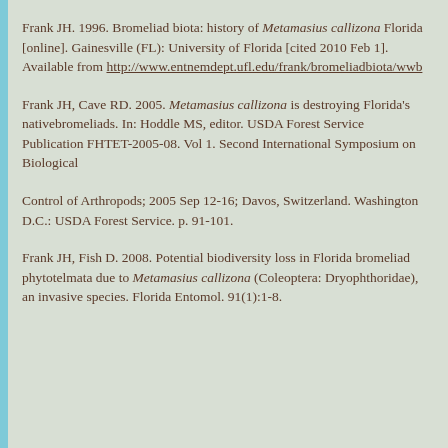Frank JH. 1996. Bromeliad biota: history of Metamasius callizona Florida [online]. Gainesville (FL): University of Florida [cited 2010 Feb 1]. Available from http://www.entnemdept.ufl.edu/frank/bromeliadbiota/wwb
Frank JH, Cave RD. 2005. Metamasius callizona is destroying Florida's nativebromeliads. In: Hoddle MS, editor. USDA Forest Service Publication FHTET-2005-08. Vol 1. Second International Symposium on Biological
Control of Arthropods; 2005 Sep 12-16; Davos, Switzerland. Washington D.C.: USDA Forest Service. p. 91-101.
Frank JH, Fish D. 2008. Potential biodiversity loss in Florida bromeliad phytotelmata due to Metamasius callizona (Coleoptera: Dryophthoridae), an invasive species. Florida Entomol. 91(1):1-8.